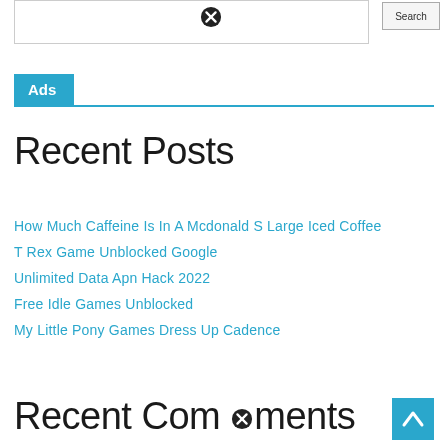[Figure (other): Ad banner box with close (X) icon in center]
Ads
Recent Posts
How Much Caffeine Is In A Mcdonald S Large Iced Coffee
T Rex Game Unblocked Google
Unlimited Data Apn Hack 2022
Free Idle Games Unblocked
My Little Pony Games Dress Up Cadence
Recent Comments